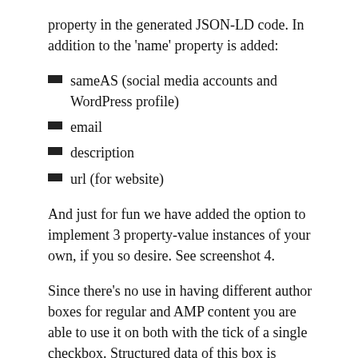property in the generated JSON-LD code. In addition to the 'name' property is added:
sameAS (social media accounts and WordPress profile)
email
description
url (for website)
And just for fun we have added the option to implement 3 property-value instances of your own, if you so desire. See screenshot 4.
Since there's no use in having different author boxes for regular and AMP content you are able to use it on both with the tick of a single checkbox. Structured data of this box is marked up by use of schema.org markup.
For your convenience we provide handy Google